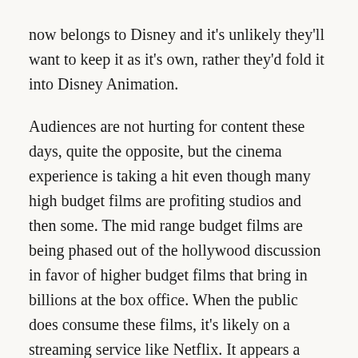now belongs to Disney and it's unlikely they'll want to keep it as it's own, rather they'd fold it into Disney Animation.
Audiences are not hurting for content these days, quite the opposite, but the cinema experience is taking a hit even though many high budget films are profiting studios and then some. The mid range budget films are being phased out of the hollywood discussion in favor of higher budget films that bring in billions at the box office. When the public does consume these films, it's likely on a streaming service like Netflix. It appears a repeat trend is starting to form.